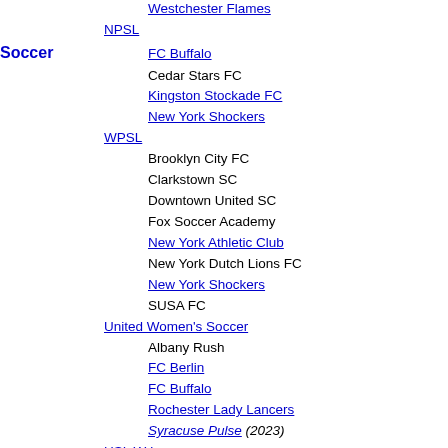Pathfinder FC
Westchester Flames
NPSL
FC Buffalo
Cedar Stars FC
Kingston Stockade FC
New York Shockers
WPSL
Brooklyn City FC
Clarkstown SC
Downtown United SC
Fox Soccer Academy
New York Athletic Club
New York Dutch Lions FC
New York Shockers
SUSA FC
United Women's Soccer
Albany Rush
FC Berlin
FC Buffalo
Rochester Lady Lancers
Syracuse Pulse (2023)
USL W League
Long Island Rough Riders
MASL